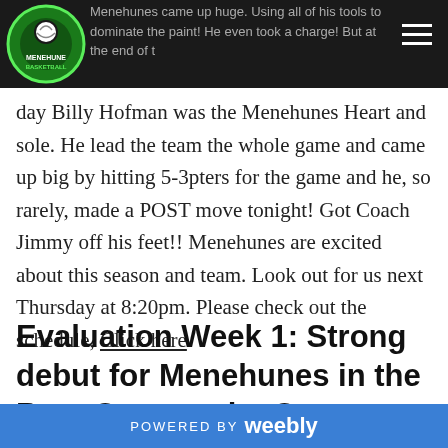Menehune Basketball logo | Menehunes came up huge. Using all of his tools to dominate the paint! He even took a charge! But at the end of the day Billy Hofman was the Menehunes Heart and sole.
day Billy Hofman was the Menehunes Heart and sole. He lead the team the whole game and came up big by hitting 5-3pters for the game and he, so rarely, made a POST move tonight! Got Coach Jimmy off his feet!! Menehunes are excited about this season and team. Look out for us next Thursday at 8:20pm. Please check out the schedule, Click here
Evaluation Week 1: Strong debut for Menehunes in the Brea Community Center league: Menehunes win 74-42, March 31,
POWERED BY weebly